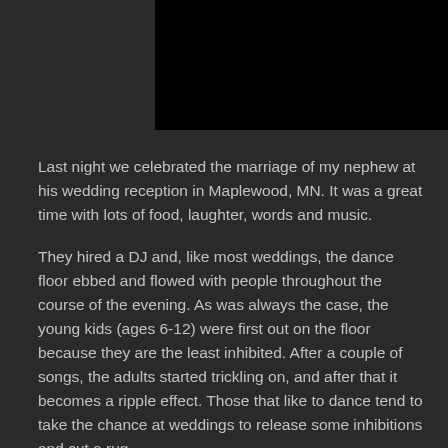[Figure (photo): Black rectangle representing a partially visible photo at the top of the page]
Last night we celebrated the marriage of my nephew at his wedding reception in Maplewood, MN. It was a great time with lots of food, laughter, words and music.
They hired a DJ and, like most weddings, the dance floor ebbed and flowed with people throughout the course of the evening. As was always the case, the young kids (ages 6-12) were first out on the floor because they are the least inhibited. After a couple of songs, the adults started trickling on, and after that it becomes a ripple effect. Those that like to dance tend to take the chance at weddings to release some inhibitions and cut a rug.
I am one of those. Truth be told, I love to dance.